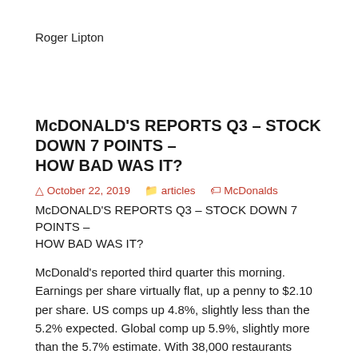Roger Lipton
McDONALD'S REPORTS Q3 – STOCK DOWN 7 POINTS – HOW BAD WAS IT?
October 22, 2019   articles   McDonalds
McDONALD'S REPORTS Q3 – STOCK DOWN 7 POINTS – HOW BAD WAS IT?
McDonald's reported third quarter this morning. Earnings per share virtually flat, up a penny to $2.10 per share. US comps up 4.8%, slightly less than the 5.2% expected. Global comp up 5.9%, slightly more than the 5.7% estimate. With 38,000 restaurants around the world, McDonald's management has done a fine job over the last several